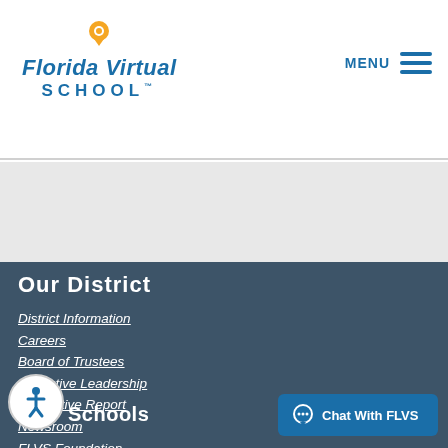[Figure (logo): Florida Virtual School logo with orange location pin icon above the text 'Florida Virtual SCHOOL']
MENU
Our District
District Information
Careers
Board of Trustees
Executive Leadership
Legislative Report
Newsroom
FLVS Foundation
Schools
Chat With FLVS